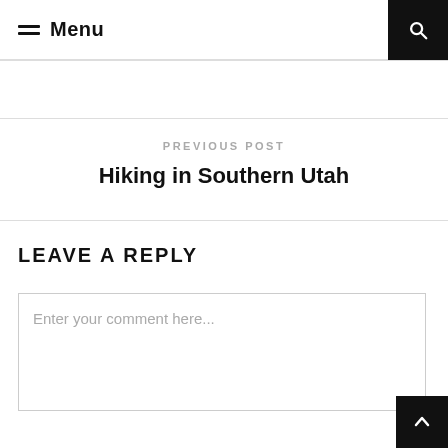≡ Menu
PREVIOUS POST
Hiking in Southern Utah
LEAVE A REPLY
Enter your comment here...